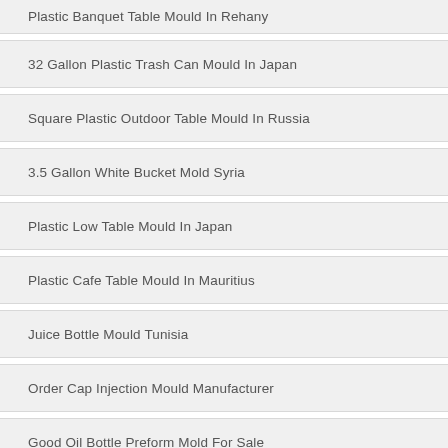Plastic Banquet Table Mould In Rehany
32 Gallon Plastic Trash Can Mould In Japan
Square Plastic Outdoor Table Mould In Russia
3.5 Gallon White Bucket Mold Syria
Plastic Low Table Mould In Japan
Plastic Cafe Table Mould In Mauritius
Juice Bottle Mould Tunisia
Order Cap Injection Mould Manufacturer
Good Oil Bottle Preform Mold For Sale
Stackable Patio Chairs Costco Taiwan